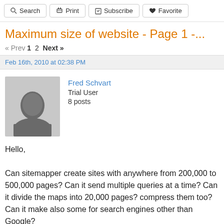Search  Print  Subscribe  Favorite
Maximum size of website - Page 1 -...
« Prev  1  2  Next »
Feb 16th, 2010 at 02:38 PM
[Figure (photo): Default avatar silhouette of a person]
Fred Schvart
Trial User
8 posts
Hello,

Can sitemapper create sites with anywhere from 200,000 to 500,000 pages? Can it send multiple queries at a time? Can it divide the maps into 20,000 pages? compress them too? Can it make also some for search engines other than Google?